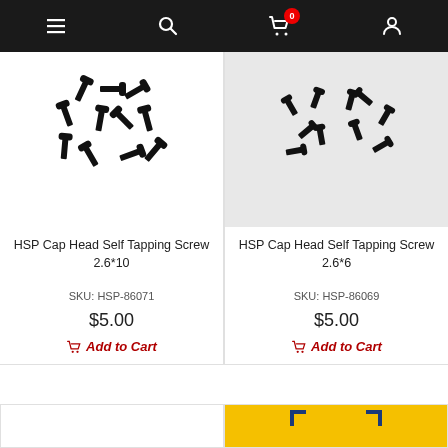Navigation bar with menu, search, cart (0 items), and user icons
[Figure (photo): HSP Cap Head Self Tapping Screw 2.6*10 product photo showing multiple black screws on white background]
HSP Cap Head Self Tapping Screw 2.6*10
SKU: HSP-86071
$5.00
Add to Cart
[Figure (photo): HSP Cap Head Self Tapping Screw 2.6*6 product photo showing multiple black screws on gray background]
HSP Cap Head Self Tapping Screw 2.6*6
SKU: HSP-86069
$5.00
Add to Cart